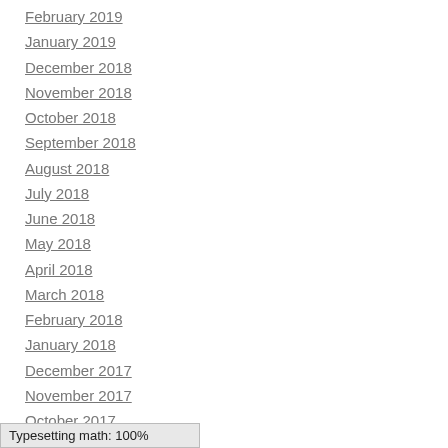February 2019
January 2019
December 2018
November 2018
October 2018
September 2018
August 2018
July 2018
June 2018
May 2018
April 2018
March 2018
February 2018
January 2018
December 2017
November 2017
October 2017
September 2017
Typesetting math: 100%